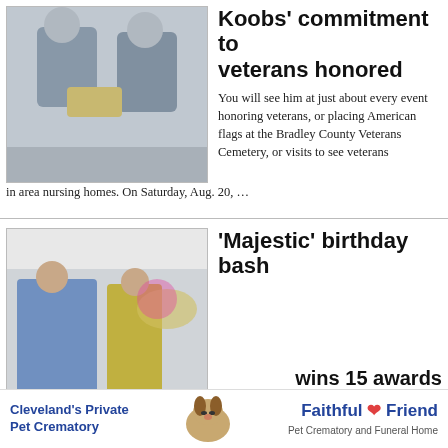[Figure (photo): Two men in suits holding a certificate or plaque, standing together indoors.]
Koobs' commitment to veterans honored
You will see him at just about every event honoring veterans, or placing American flags at the Bradley County Veterans Cemetery, or visits to see veterans in area nursing homes. On Saturday, Aug. 20, …
[Figure (photo): Group of people standing together inside what appears to be a store or retail space, with balloons visible in the background.]
'Majestic' birthday bash
[Figure (photo): Person photographed indoors, partial view.]
Banner publisher now president of statewide
wins 15 awards
[Figure (advertisement): Ad for Cleveland's Private Pet Crematory / Faithful Friend Pet Crematory and Funeral Home, featuring a beagle dog photo.]